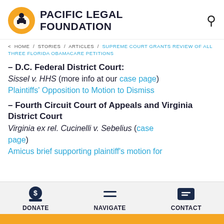PACIFIC LEGAL FOUNDATION
< HOME / STORIES / ARTICLES / SUPREME COURT GRANTS REVIEW OF ALL THREE FLORIDA OBAMACARE PETITIONS
– D.C. Federal District Court:
Sissel v. HHS (more info at our case page)
Plaintiffs' Opposition to Motion to Dismiss
– Fourth Circuit Court of Appeals and Virginia District Court
Virginia ex rel. Cucinelli v. Sebelius (case page)
Amicus brief supporting plaintiff's motion for
DONATE   NAVIGATE   CONTACT